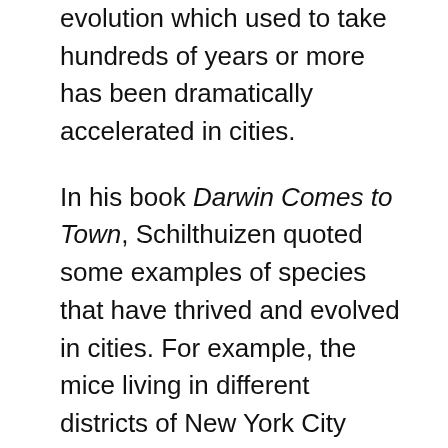evolution which used to take hundreds of years or more has been dramatically accelerated in cities.
In his book Darwin Comes to Town, Schilthuizen quoted some examples of species that have thrived and evolved in cities. For example, the mice living in different districts of New York City exhibit different DNA profiles. The urban heat-island effect causes the temperature in cities to measure higher than in surrounding areas. Snails living in urban areas become lighter in color to absorb less heat. Pigeons living in cities look darker because the melanin in their feathers insulates them from toxic metals. Scavenger crows in Sendai, Japan, learned to crack nuts with